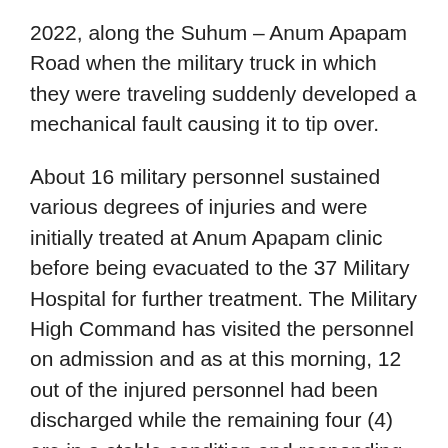2022, along the Suhum – Anum Apapam Road when the military truck in which they were traveling suddenly developed a mechanical fault causing it to tip over.
About 16 military personnel sustained various degrees of injuries and were initially treated at Anum Apapam clinic before being evacuated to the 37 Military Hospital for further treatment. The Military High Command has visited the personnel on admission and as at this morning, 12 out of the injured personnel had been discharged while the remaining four (4) are in a stable condition and responding to treatment.
The Ghana Armed Forces wishes to express its appreciation to the residents of Anum Apapam and the surrounding areas and the Apapam Clinic Staff who came to the aid of the injured personnel, and also the National Ambulance Service